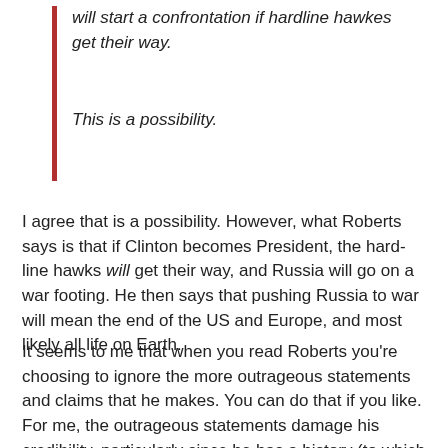will start a confrontation if hardline hawkes get their way.

This is a possibility.
I agree that is a possibility. However, what Roberts says is that if Clinton becomes President, the hard-line hawks will get their way, and Russia will go on a war footing. He then says that pushing Russia to war will mean the end of the US and Europe, and most likely all life on Earth.
It seems to me that when you read Roberts you're choosing to ignore the more outrageous statements and claims that he makes. You can do that if you like. For me, the outrageous statements damage his credibility, particularly since he has a history (to which I referred) of exaggerating the risks of war